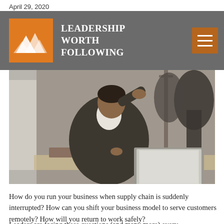April 29, 2020
[Figure (logo): Leadership Worth Following logo: orange square with white geometric mountain/chevron shapes, next to white bold text 'LEADERSHIP WORTH FOLLOWING' on dark grey background, with orange hamburger menu button on right]
[Figure (photo): A businessman in a dark suit sitting at a desk, leaning on his hand looking stressed, working on a laptop computer. Background shows a coat rack with jackets hanging.]
How do you run your business when supply chain is suddenly interrupted? How can you shift your business model to serve customers remotely? How will you return to work safely?
Leaders are facing these questions (and many more) every